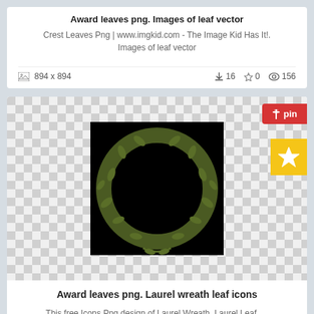Award leaves png. Images of leaf vector
Crest Leaves Png | www.imgkid.com - The Image Kid Has It!. Images of leaf vector
894 x 894   ↓16  ☆0  👁 156
[Figure (illustration): Laurel wreath on black background, centered in a checkered transparency pattern]
Award leaves png. Laurel wreath leaf icons
This free Icons Png design of Laurel Wreath, Laurel Leaf .... Laurel wreath leaf icons
2346 x 1974   ↓7  ☆0  👁 129